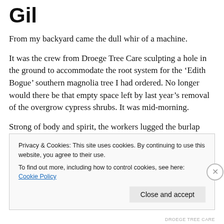Gil
From my backyard came the dull whir of a machine.
It was the crew from Droege Tree Care sculpting a hole in the ground to accommodate the root system for the ‘Edith Bogue’ southern magnolia tree I had ordered. No longer would there be that empty space left by last year’s removal of the overgrow cypress shrubs. It was mid-morning.
Strong of body and spirit, the workers lugged the burlap bulb over the grass and slowly lowered it into the hole.
Privacy & Cookies: This site uses cookies. By continuing to use this website, you agree to their use.
To find out more, including how to control cookies, see here: Cookie Policy
Close and accept